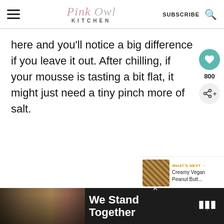Pink Owl Kitchen | SUBSCRIBE
here and you'll notice a big difference if you leave it out. After chilling, if your mousse is tasting a bit flat, it might just need a tiny pinch more of salt.
800
WHAT'S NEXT → Creamy Vegan Peanut Butt...
[Figure (infographic): We Stand Together advertisement banner with group photo on dark background]